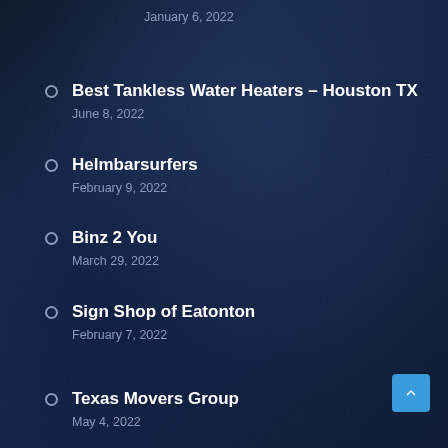January 6, 2022
Best Tankless Water Heaters – Houston TX
June 8, 2022
Helmbarsurfers
February 9, 2022
Binz 2 You
March 29, 2022
Sign Shop of Eatonton
February 7, 2022
Texas Movers Group
May 4, 2022